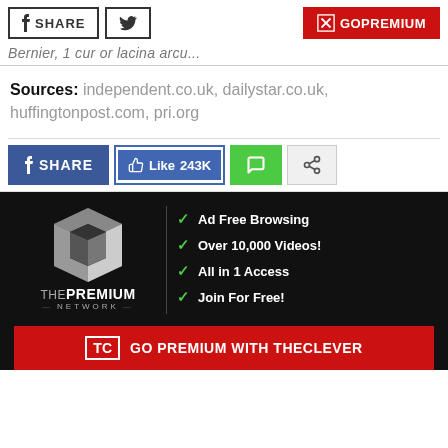[Figure (screenshot): Top navigation bar with Facebook Share button, Twitter button, and red GoPremium button]
Sources: independent.co.uk, dailystar.co.uk, huffingtonpost.com, pri.org
[Figure (screenshot): Social sharing bar with Facebook Share button, Facebook Like 243K button, green comment button, and share icon button]
[Figure (infographic): The Premium Network banner advertisement on black background with logo, checklist items: Ad Free Browsing, Over 10,000 Videos!, All in 1 Access, Join For Free!, and red GO PREMIUM WITH THECLEVER bar at bottom]